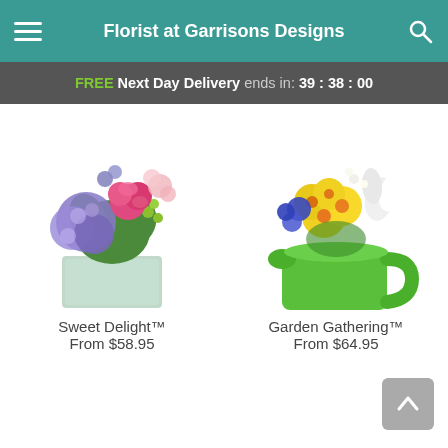Florist at Garrisons Designs
FREE Next Day Delivery ends in: 39 : 38 : 00
[Figure (photo): Sweet Delight flower arrangement in a glass cube vase with purple hydrangeas, pink roses, and green accents]
Sweet Delight™
From $58.95
[Figure (photo): Garden Gathering flower arrangement in a green ceramic pitcher with yellow daisies, blue flowers, and white tulips]
Garden Gathering™
From $64.95